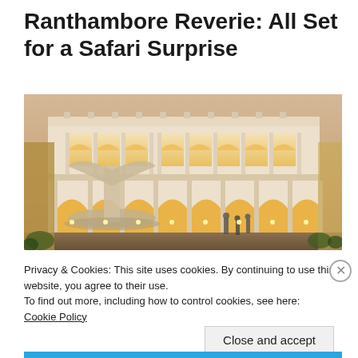Ranthambore Reverie: All Set for a Safari Surprise
[Figure (photo): Courtyard of an ornate Rajasthani palace hotel at dusk, featuring white arched colonnades with golden lighting, a marble fountain or sculpture in the foreground, and multiple levels of elaborately carved architecture.]
Privacy & Cookies: This site uses cookies. By continuing to use this website, you agree to their use.
To find out more, including how to control cookies, see here: Cookie Policy
Close and accept